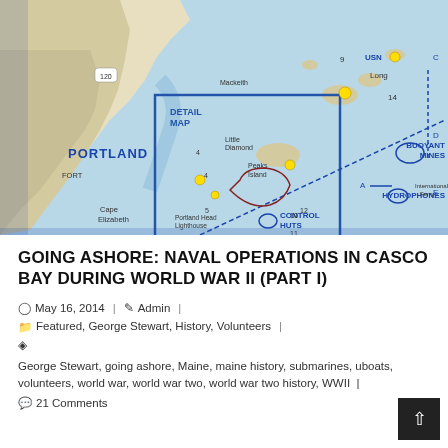[Figure (map): Naval map of Casco Bay area near Portland, Maine showing WWII naval installations including buoyant mines, hydrophones, control huts, navy loops (A through G), detail map inset, and international ferry route. Map shows Portland, Cape Elizabeth, Peaks Island, Portland Head Lighthouse, and surrounding waters of Casco Bay and Atlantic Ocean.]
GOING ASHORE: NAVAL OPERATIONS IN CASCO BAY DURING WORLD WAR II (PART I)
May 16, 2014 | Admin |
Featured, George Stewart, History, Volunteers |
George Stewart, going ashore, Maine, maine history, submarines, uboats, volunteers, world war, world war two, world war two history, WWII |
21 Comments